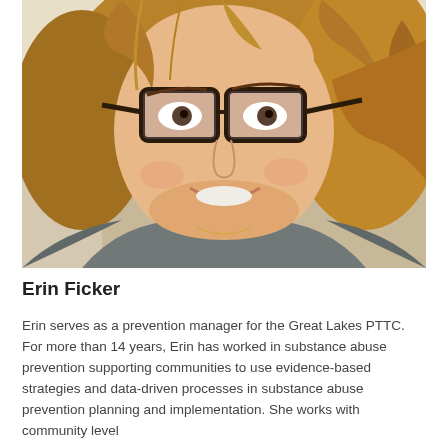[Figure (photo): Close-up portrait photo of Erin Ficker, a woman with curly golden-brown hair and dark-framed glasses, smiling, wearing a gray top.]
Erin Ficker
Erin serves as a prevention manager for the Great Lakes PTTC. For more than 14 years, Erin has worked in substance abuse prevention supporting communities to use evidence-based strategies and data-driven processes in substance abuse prevention planning and implementation. She works with community level